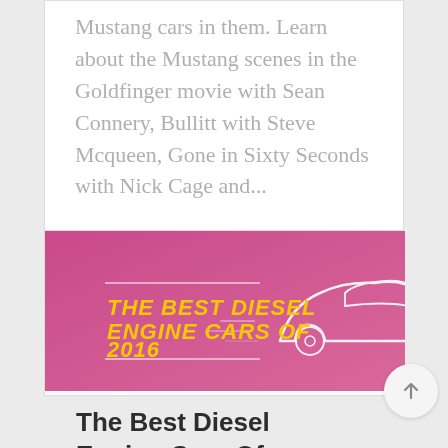Mustang cars in them. Learn about the Mustang scenes in the Goldfinger movie with Sean Connery, Bullitt with Steve Mcqueen, Gone in Sixty Seconds with Nick Cage and...
[Figure (illustration): Banner image with pink/magenta background and white car outline silhouette. Bold yellow text reads 'THE BEST DIESEL ENGINE CARS OF 2016' with decorative lines.]
The Best Diesel Engine Cars Of